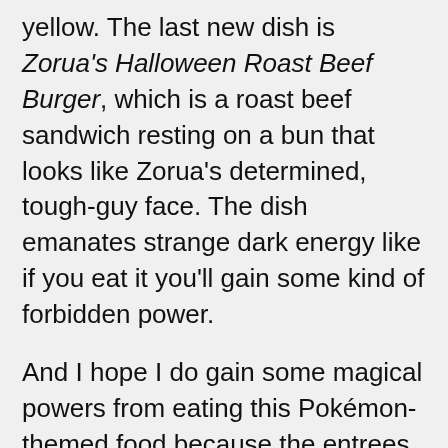yellow. The last new dish is Zorua's Halloween Roast Beef Burger, which is a roast beef sandwich resting on a bun that looks like Zorua's determined, tough-guy face. The dish emanates strange dark energy like if you eat it you'll gain some kind of forbidden power.
And I hope I do gain some magical powers from eating this Pokémon-themed food because the entrees aren't very easy on your wallet; each dish in the new menu is 1,706 yen ($16 USD). However, for this price, you're able to sit in a totally decked-out Pokémon-themed cafe, complete with a chance to meet the mascot Pikachu himself. There are also limited-edition placemats